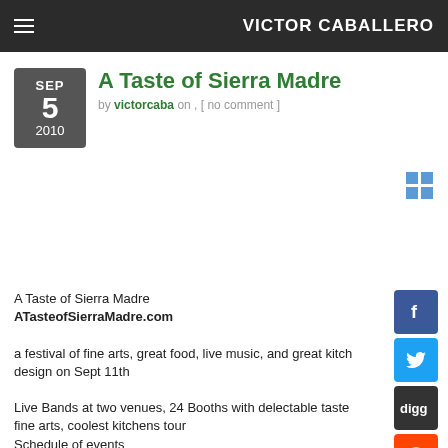VICTOR CABALLERO
A Taste of Sierra Madre
by victorcaba on , [ no comment ]
A Taste of Sierra Madre
ATasteofSierraMadre.com

a festival of fine arts, great food, live music, and great kitch design on Sept 11th

Live Bands at two venues, 24 Booths with delectable taste fine arts, coolest kitchens tour
Schedule of events
9:00 AM     $35 VIP Coolest Kitchen Tours runs until 1 p.m.
Kersting Court closed to traffic for event setup